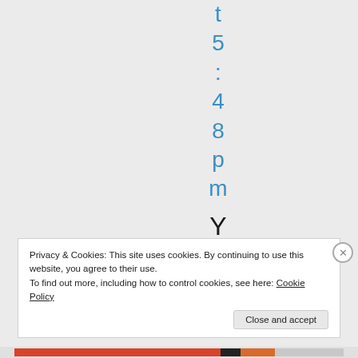t 5 : 4 8 p m   Y E S .
Privacy & Cookies: This site uses cookies. By continuing to use this website, you agree to their use. To find out more, including how to control cookies, see here: Cookie Policy
Close and accept